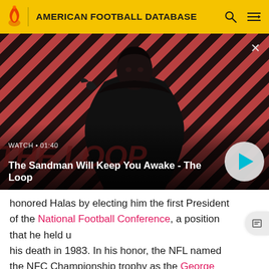AMERICAN FOOTBALL DATABASE
[Figure (screenshot): Video thumbnail for 'The Sandman Will Keep You Awake - The Loop' showing a dark-cloaked figure with a raven on shoulder against a diagonal red/dark striped background. Displays WATCH • 01:40 and a play button.]
WATCH • 01:40
The Sandman Will Keep You Awake - The Loop
honored Halas by electing him the first President of the National Football Conference, a position that he held until his death in 1983. In his honor, the NFL named the NFC Championship trophy as the George Halas Memorial Trophy.